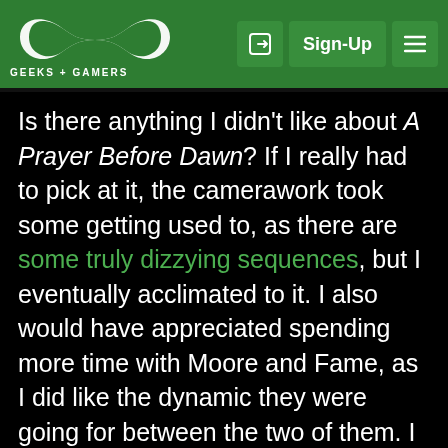GEEKS + GAMERS — Sign-Up navigation header
Is there anything I didn't like about A Prayer Before Dawn? If I really had to pick at it, the camerawork took some getting used to, as there are some truly dizzying sequences, but I eventually acclimated to it. I also would have appreciated spending more time with Moore and Fame, as I did like the dynamic they were going for between the two of them. I also wanted to know more about Fame in general. I wouldn't call these major issues, as they didn't take away from my enjoyment of the film. I'll also add – not as a negative – that this movie is INCREDIBLY disturbing at times. The prison lifestyle they